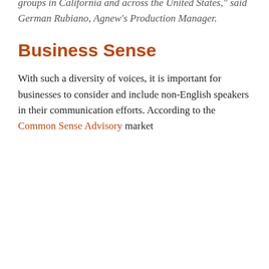living near San Francisco or Los Angeles can tell you it is not uncommon to hear Farsi, Armenian, Russian or Arabic during the course of a normal day.
“Agnew Multilingual specializes in developing linguistically adapted content for non-English speaking groups in California and across the United States,” said German Rubiano, Agnew’s Production Manager.
Business Sense
With such a diversity of voices, it is important for businesses to consider and include non-English speakers in their communication efforts. According to the Common Sense Advisory market